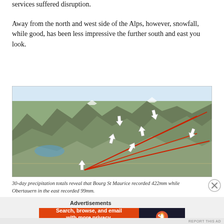services suffered disruption.
Away from the north and west side of the Alps, however, snowfall, while good, has been less impressive the further south and east you look.
[Figure (map): A topographic map of the Alps region showing red lines connecting locations from west to east, with white arrow markers indicating specific points. The map shows mountainous terrain from Bourg St Maurice in the west to Obertauern in the east.]
30-day precipitation totals reveal that Bourg St Maurice recorded 422mm while Obertauern in the east recorded 99mm.
Advertisements
[Figure (screenshot): DuckDuckGo advertisement banner: 'Search, browse, and email with more privacy. All in One Free App' with DuckDuckGo logo on dark right panel.]